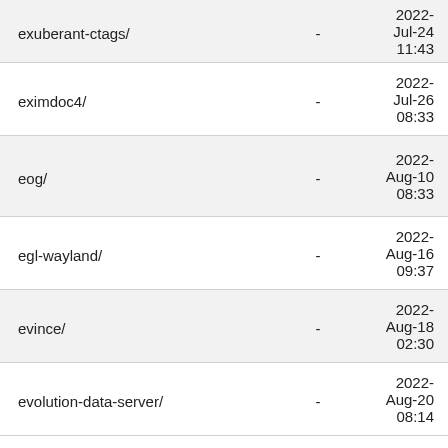| Name | Size | Date |
| --- | --- | --- |
| exuberant-ctags/ | - | 2022-Jul-24 11:43 |
| eximdoc4/ | - | 2022-Jul-26 08:33 |
| eog/ | - | 2022-Aug-10 08:33 |
| egl-wayland/ | - | 2022-Aug-16 09:37 |
| evince/ | - | 2022-Aug-18 02:30 |
| evolution-data-server/ | - | 2022-Aug-20 08:14 |